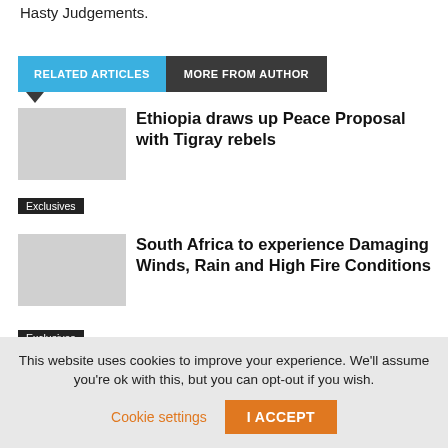Hasty Judgements.
RELATED ARTICLES  MORE FROM AUTHOR
Ethiopia draws up Peace Proposal with Tigray rebels
Exclusives
South Africa to experience Damaging Winds, Rain and High Fire Conditions
Exclusives
Explosion rocks Kabul Mosque, killing
This website uses cookies to improve your experience. We'll assume you're ok with this, but you can opt-out if you wish.
Cookie settings  I ACCEPT